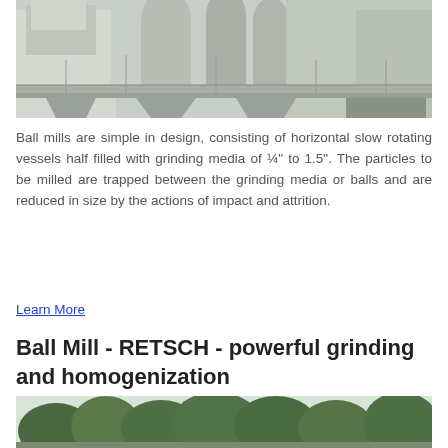[Figure (photo): Industrial ball mill machinery installation, large white/grey equipment with tanks and structural scaffolding]
Ball mills are simple in design, consisting of horizontal slow rotating vessels half filled with grinding media of ¼" to 1.5". The particles to be milled are trapped between the grinding media or balls and are reduced in size by the actions of impact and attrition.
Learn More
Ball Mill - RETSCH - powerful grinding and homogenization
[Figure (photo): Trees and outdoor industrial setting, partial view at bottom of page]